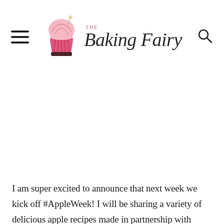THE Baking Fairy
[Figure (illustration): Blank white content area (advertisement or image placeholder)]
I am super excited to announce that next week we kick off #AppleWeek! I will be sharing a variety of delicious apple recipes made in partnership with some very